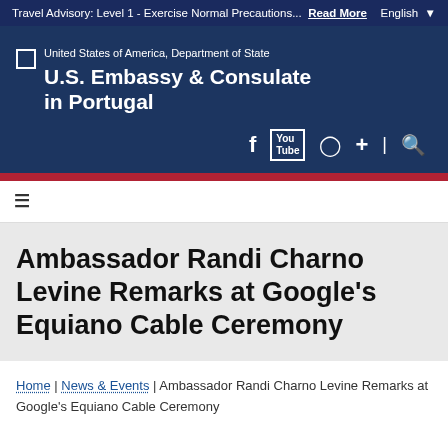Travel Advisory: Level 1 - Exercise Normal Precautions... Read More | English
[Figure (logo): United States of America, Department of State seal/flag logo placeholder, followed by text: U.S. Embassy & Consulate in Portugal, with social media icons: Facebook, YouTube, Instagram, plus sign, search]
Ambassador Randi Charno Levine Remarks at Google's Equiano Cable Ceremony
Home | News & Events | Ambassador Randi Charno Levine Remarks at Google's Equiano Cable Ceremony